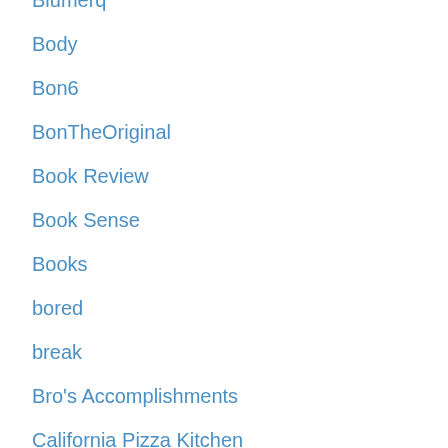Blumerq
Body
Bon6
BonTheOriginal
Book Review
Book Sense
Books
bored
break
Bro's Accomplishments
California Pizza Kitchen
Car